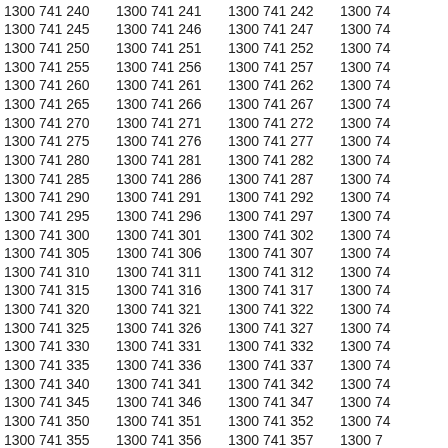Grid of phone numbers: 1300 741 240 through 1300 741 357+ arranged in 4 columns, rows incrementing by 5 each row per column, continuing beyond visible area.